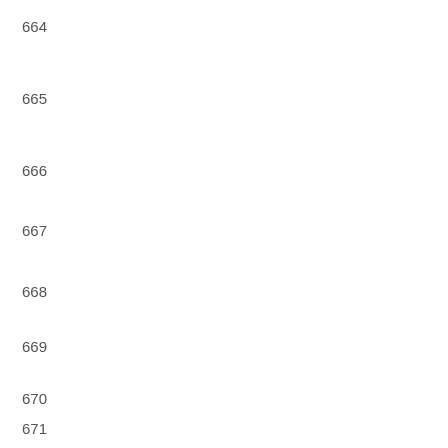664
665
666
667
668
669
670
671